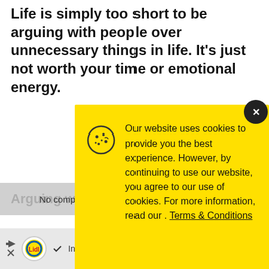Life is simply too short to be arguing with people over unnecessary things in life. It's just not worth your time or emotional energy.
[Figure (screenshot): Cookie consent popup overlay on a yellow background with cookie icon, text about website cookie usage, Terms & Conditions link, and an Accept button. Also shows a partial ad bar at the bottom with Lidl logo and 'In-store shopping' text.]
Arguing wit